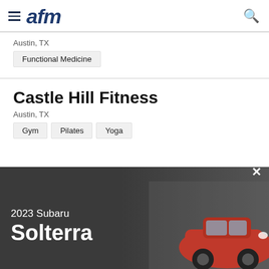afm
Austin, TX
Functional Medicine
Castle Hill Fitness
Austin, TX
Gym
Pilates
Yoga
[Figure (photo): Advertisement banner for 2023 Subaru Solterra with a red SUV on a dark background, with THE AUSTIN YOUTH ISSUE strip at top and a close button.]